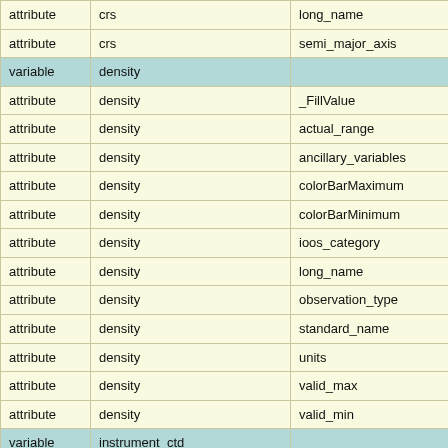|  |  |  |
| --- | --- | --- |
| attribute | crs | long_name |
| attribute | crs | semi_major_axis |
| variable | density |  |
| attribute | density | _FillValue |
| attribute | density | actual_range |
| attribute | density | ancillary_variables |
| attribute | density | colorBarMaximum |
| attribute | density | colorBarMinimum |
| attribute | density | ioos_category |
| attribute | density | long_name |
| attribute | density | observation_type |
| attribute | density | standard_name |
| attribute | density | units |
| attribute | density | valid_max |
| attribute | density | valid_min |
| variable | instrument_ctd |  |
| attribute | instrument_ctd | _FillValue |
| attribute | instrument_ctd | calibration_date |
| attribute | instrument_ctd | comment |
| attribute | instrument_ctd | factory_calibrated |